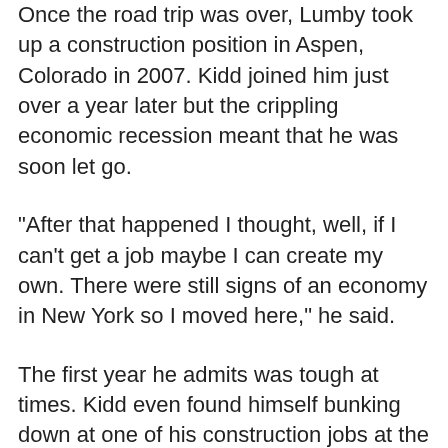Once the road trip was over, Lumby took up a construction position in Aspen, Colorado in 2007. Kidd joined him just over a year later but the crippling economic recession meant that he was soon let go.
"After that happened I thought, well, if I can't get a job maybe I can create my own. There were still signs of an economy in New York so I moved here," he said.
The first year he admits was tough at times. Kidd even found himself bunking down at one of his construction jobs at the Gramercy Park Apartments
But with Lumby soon back by his side, the